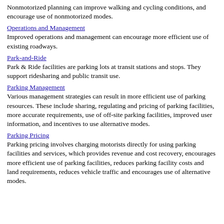Nonmotorized planning can improve walking and cycling conditions, and encourage use of nonmotorized modes.
Operations and Management
Improved operations and management can encourage more efficient use of existing roadways.
Park-and-Ride
Park & Ride facilities are parking lots at transit stations and stops. They support ridesharing and public transit use.
Parking Management
Various management strategies can result in more efficient use of parking resources. These include sharing, regulating and pricing of parking facilities, more accurate requirements, use of off-site parking facilities, improved user information, and incentives to use alternative modes.
Parking Pricing
Parking pricing involves charging motorists directly for using parking facilities and services, which provides revenue and cost recovery, encourages more efficient use of parking facilities, reduces parking facility costs and land requirements, reduces vehicle traffic and encourages use of alternative modes.